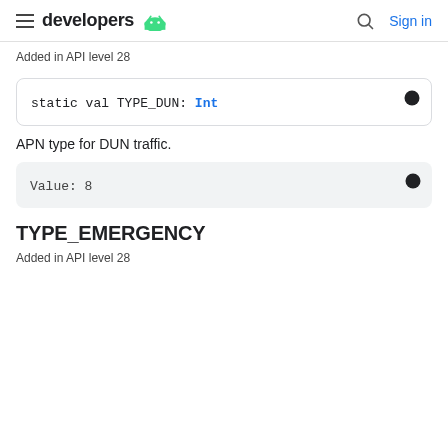developers | Sign in
Added in API level 28
static val TYPE_DUN: Int
APN type for DUN traffic.
Value: 8
TYPE_EMERGENCY
Added in API level 28